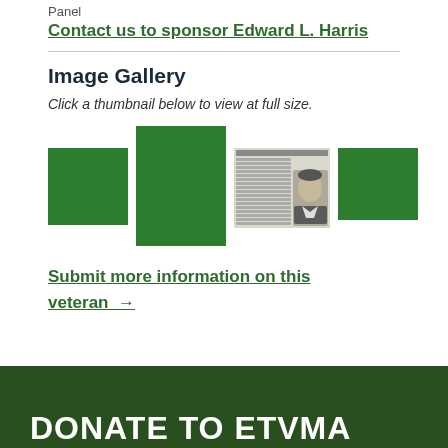Panel
Contact us to sponsor Edward L. Harris
Image Gallery
Click a thumbnail below to view at full size.
[Figure (photo): Four image thumbnails in a gallery: three green placeholder squares and one newspaper clipping with a photo of a man.]
Submit more information on this veteran →
DONATE TO ETVMA